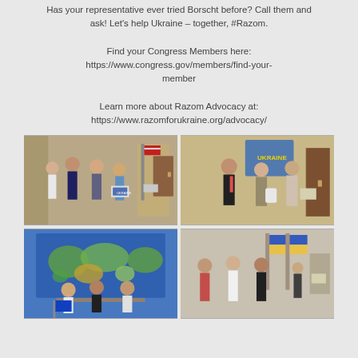Has your representative ever tried Borscht before? Call them and ask! Let's help Ukraine – together, #Razom.

Find your Congress Members here: https://www.congress.gov/members/find-your-member

Learn more about Razom Advocacy at: https://www.razomforukraine.org/advocacy/
[Figure (photo): Group of people standing in a Congressional hallway with an American flag, one person holding a Ukraine sign]
[Figure (photo): Three people posing in front of a Congressional office door with a Ukraine-themed background display]
[Figure (photo): Three people standing in front of a large world map, holding a blue flag]
[Figure (photo): Group of people posing in a Congressional hallway with Ukrainian flags in the background]